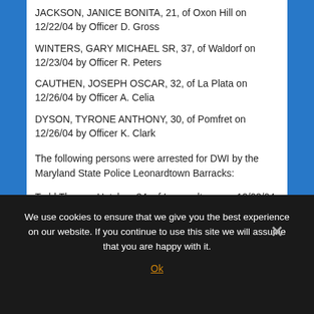JACKSON, JANICE BONITA, 21, of Oxon Hill on 12/22/04 by Officer D. Gross
WINTERS, GARY MICHAEL SR, 37, of Waldorf on 12/23/04 by Officer R. Peters
CAUTHEN, JOSEPH OSCAR, 32, of La Plata on 12/26/04 by Officer A. Celia
DYSON, TYRONE ANTHONY, 30, of Pomfret on 12/26/04 by Officer K. Clark
The following persons were arrested for DWI by the Maryland State Police Leonardtown Barracks:
Todd Thomas Hatcher, 34, of Leonardtown on 12/23/04 by Tpr. R. B. Rezza
Brian Stephen Dunlap, 20, of Clements on 12/24/04 by TFC W. P. Goldston
William Kenneth Trossbach, 43, of Great Mills on
We use cookies to ensure that we give you the best experience on our website. If you continue to use this site we will assume that you are happy with it.